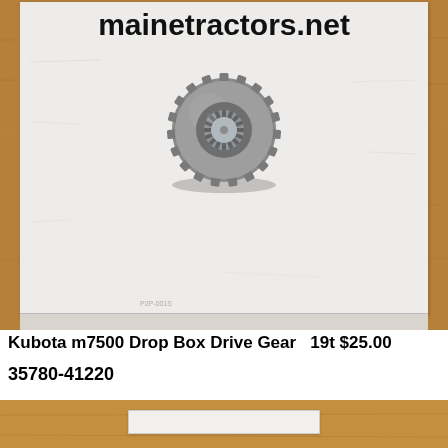[Figure (photo): Photo of a Kubota m7500 drop box drive gear (19-tooth metal gear) placed on a white paper bag/packaging, with 'mainetractors.net' text watermark visible at top.]
Kubota m7500 Drop Box Drive Gear  19t $25.00
35780-41220
[Figure (photo): Partial photo showing a wooden surface with a white paper/label at the bottom edge.]